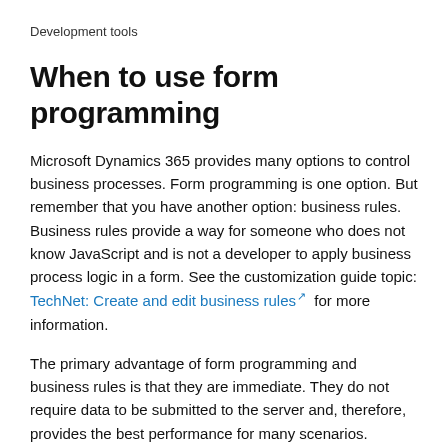Development tools
When to use form programming
Microsoft Dynamics 365 provides many options to control business processes. Form programming is one option. But remember that you have another option: business rules. Business rules provide a way for someone who does not know JavaScript and is not a developer to apply business process logic in a form. See the customization guide topic: TechNet: Create and edit business rules for more information.
The primary advantage of form programming and business rules is that they are immediate. They do not require data to be submitted to the server and, therefore, provides the best performance for many scenarios. Because they allow for human interaction, they are also the most flexible option